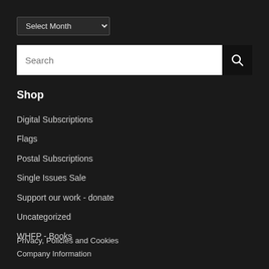[Figure (screenshot): Dropdown select element with 'Select Month' placeholder text]
[Figure (screenshot): Search input box with placeholder 'Search' and a black search button with magnifying glass icon]
Shop
Digital Subscriptions
Flags
Postal Subscriptions
Single Issues Sale
Support our work - donate
Uncategorized
WHFP - Books
Privacy, Policies and Cookies
Company Information